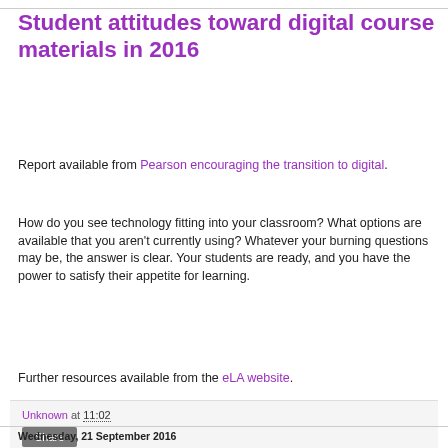Student attitudes toward digital course materials in 2016
Report available from Pearson encouraging the transition to digital.
How do you see technology fitting into your classroom? What options are available that you aren’t currently using? Whatever your burning questions may be, the answer is clear. Your students are ready, and you have the power to satisfy their appetite for learning.
Further resources available from the eLA website.
Unknown at 11:02
Wednesday, 21 September 2016